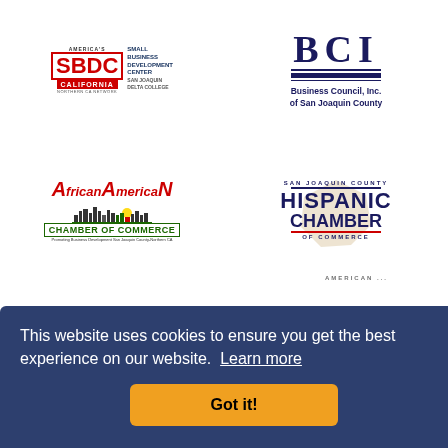[Figure (logo): America's SBDC California Northern CA Network - Small Business Development Center San Joaquin Delta College logo]
[Figure (logo): BCI Business Council Inc. of San Joaquin County logo]
[Figure (logo): African American Chamber of Commerce - Promoting Business Development San Joaquin County Northern CA logo]
[Figure (logo): San Joaquin County Hispanic Chamber of Commerce logo]
This website uses cookies to ensure you get the best experience on our website. Learn more
Got it!